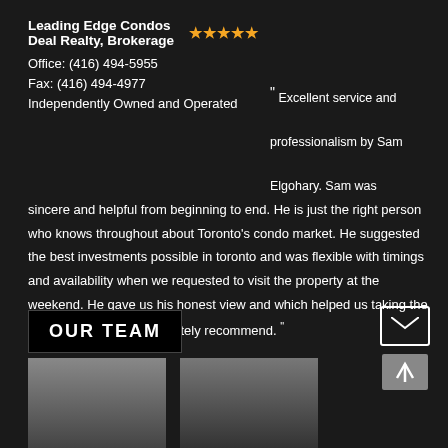Leading Edge Condos Deal Realty, Brokerage ★★★★★
Office: (416) 494-5955
Fax: (416) 494-4977
Independently Owned and Operated
" Excellent service and professionalism by Sam Elgohary. Sam was sincere and helpful from beginning to end. He is just the right person who knows throughout about Toronto's condo market. He suggested the best investments possible in toronto and was flexible with timings and availability when we requested to visit the property at the weekend. He gave us his honest view and which helped us taking the right decision. would definitely recommend. "
— David
OUR TEAM
[Figure (photo): Two partial portrait photos of team members at the bottom of the page]
[Figure (infographic): Mail icon button and up arrow scroll button on right side]